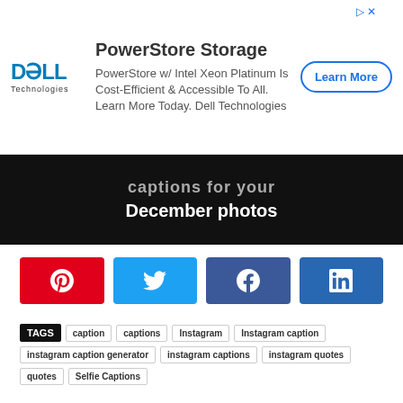[Figure (screenshot): Dell Technologies advertisement banner for PowerStore Storage with Learn More button]
[Figure (screenshot): Dark banner with text 'captions for your December photos']
[Figure (infographic): Social share buttons row: Pinterest (red), Twitter (light blue), Facebook (dark blue), LinkedIn (blue)]
TAGS  caption  captions  Instagram  Instagram caption  instagram caption generator  instagram captions  instagram quotes  quotes  Selfie Captions